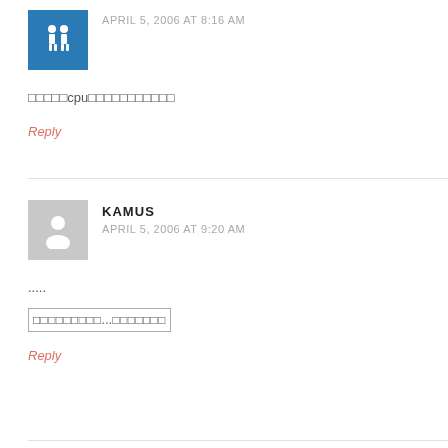[Figure (illustration): Blue avatar icon with two stick figures]
APRIL 5, 2006 AT 8:16 AM
□□□□□cpu□□□□□□□□□□□
Reply
[Figure (illustration): Gray default avatar silhouette]
KAMUS
APRIL 5, 2006 AT 9:20 AM
.....
□□□□□□□□□...□□□□□□□
Reply